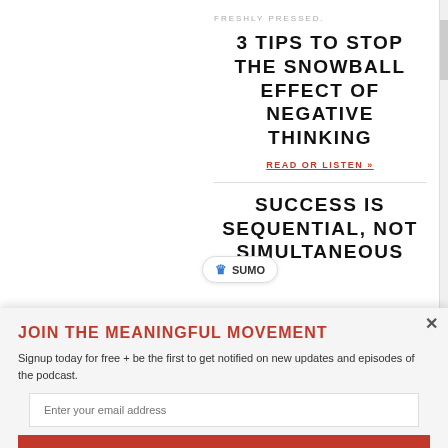FRESHLY PRESSED.
3 TIPS TO STOP THE SNOWBALL EFFECT OF NEGATIVE THINKING
READ OR LISTEN »
SUCCESS IS SEQUENTIAL, NOT SIMULTANEOUS
JOIN THE MEANINGFUL MOVEMENT
Signup today for free + be the first to get notified on new updates and episodes of the podcast.
Enter your email address
Subscribe Now